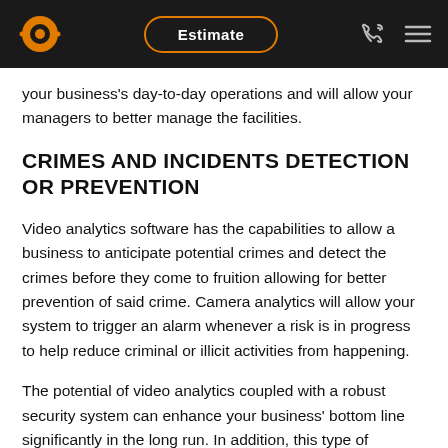Estimate
your business's day-to-day operations and will allow your managers to better manage the facilities.
CRIMES AND INCIDENTS DETECTION OR PREVENTION
Video analytics software has the capabilities to allow a business to anticipate potential crimes and detect the crimes before they come to fruition allowing for better prevention of said crime. Camera analytics will allow your system to trigger an alarm whenever a risk is in progress to help reduce criminal or illicit activities from happening.
The potential of video analytics coupled with a robust security system can enhance your business' bottom line significantly in the long run. In addition, this type of